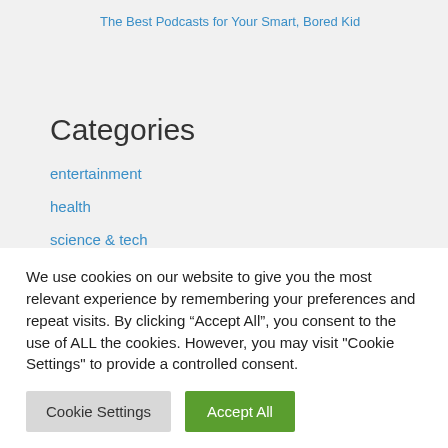The Best Podcasts for Your Smart, Bored Kid
Categories
entertainment
health
science & tech
sport
We use cookies on our website to give you the most relevant experience by remembering your preferences and repeat visits. By clicking “Accept All”, you consent to the use of ALL the cookies. However, you may visit "Cookie Settings" to provide a controlled consent.
Cookie Settings | Accept All